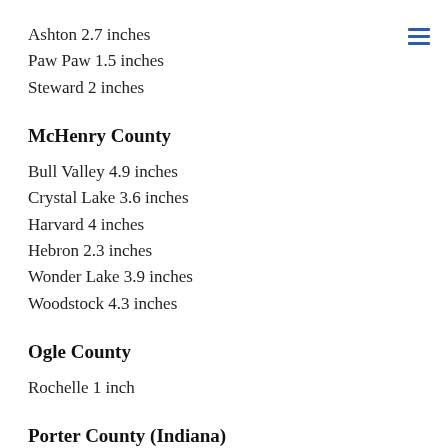Ashton 2.7 inches
Paw Paw 1.5 inches
Steward 2 inches
McHenry County
Bull Valley 4.9 inches
Crystal Lake 3.6 inches
Harvard 4 inches
Hebron 2.3 inches
Wonder Lake 3.9 inches
Woodstock 4.3 inches
Ogle County
Rochelle 1 inch
Porter County (Indiana)